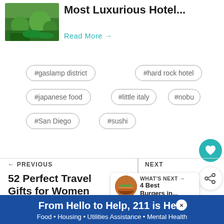[Figure (photo): Photo of a lush garden or pond area with greenery, likely a hotel garden]
Most Luxurious Hotel...
Read More →
#gaslamp district
#hard rock hotel
#japanese food
#little italy
#nobu
#San Diego
#sushi
← PREVIOUS
52 Perfect Travel Gifts for Women
NEXT
A Perf... Oceanside Exploring Art and
WHAT'S NEXT → 4 Best Burgers in...
From Hello to Help, 211 is Here
Food • Housing • Utilities Assistance • Mental Health